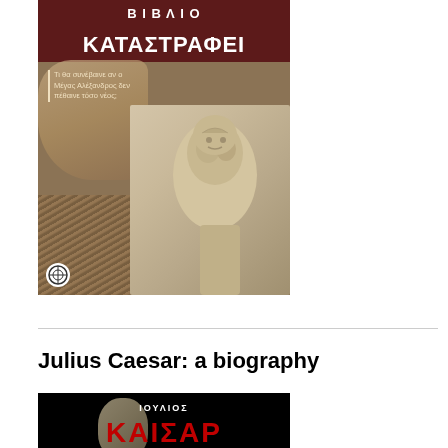[Figure (photo): Book cover showing a Greek or ancient sculpture bust with Greek text 'ΚΑΤΑΣΤΡΑΦΕΙ' on a dark red banner at top, subtitle text in Greek, ancient map background, and dramatic rays at bottom. Publisher logo visible at bottom left.]
Julius Caesar: a biography
[Figure (photo): Book cover with black background showing Greek text 'ΙΟΥΛΙΟΣ ΚΑΙΣΑΡ' in large red letters, subtitle 'Ο θεμελιωτής' and 'της Ρωμαϊκής αυτοκρατορείας' in white text below.]